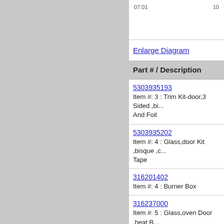[Figure (other): Partial diagram with item numbers 07:01 and 10 visible at top]
Enlarge Diagram
| Part # / Description |
| --- |
| 5303935193
Item #: 3 : Trim Kit-door,3 Sided ,bi... And Foil |
| 5303935202
Item #: 4 : Glass,door Kit ,bisque ,c... Tape |
| 316201402
Item #: 4 : Burner Box |
| 316237000
Item #: 5 : Glass,oven Door ,heat B... |
| 316129200
Item #: 5 : Screw... ,plastic ,with Sto... |
| 316222707
Item #: 6 : Shield-wool,oven Door |